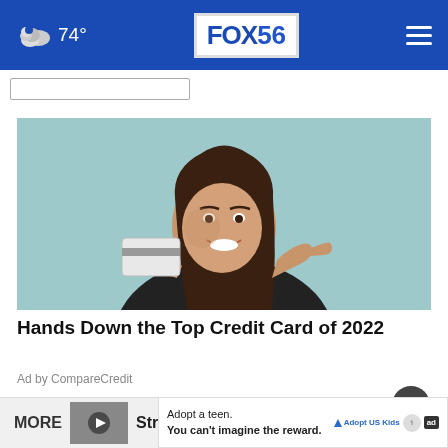FOX 56 — 74° weather, navigation header
[Figure (photo): Young woman with long brown hair in a black top smiling and pointing at a credit card she is holding, against a light teal background]
Hands Down the Top Credit Card of 2022
Ad by CompareCredit
MORE
Strong start continues for UK
Adopt a teen. You can't imagine the reward.